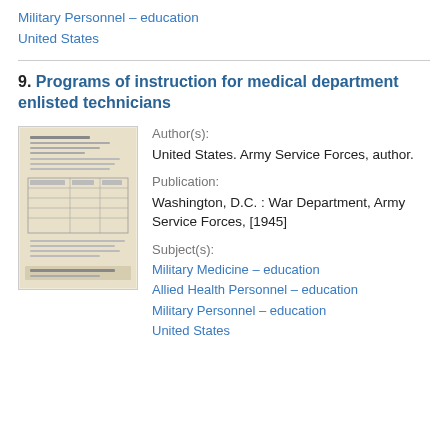Military Personnel – education
United States
9. Programs of instruction for medical department enlisted technicians
[Figure (photo): Thumbnail image of a document page with dense text and a table, yellowed paper background.]
Author(s):
United States. Army Service Forces, author.
Publication:
Washington, D.C. : War Department, Army Service Forces, [1945]
Subject(s):
Military Medicine – education
Allied Health Personnel – education
Military Personnel – education
United States